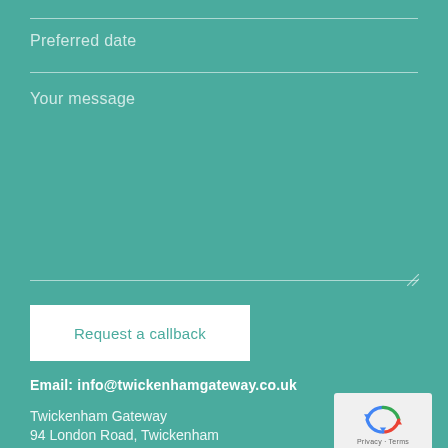Preferred date
Your message
Request a callback
Email: info@twickenhamgateway.co.uk
Twickenham Gateway
94 London Road, Twickenham
[Figure (logo): reCAPTCHA logo with Privacy and Terms label]